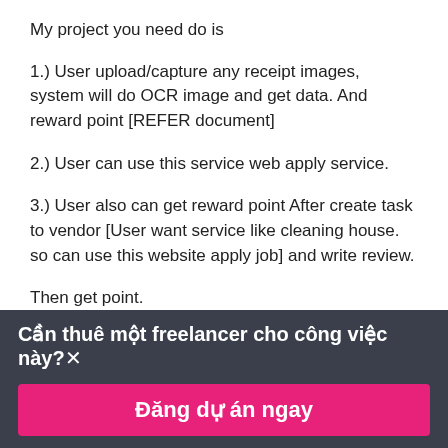My project you need do is
1.) User upload/capture any receipt images, system will do OCR image and get data. And reward point [REFER document]
2.) User can use this service web apply service.
3.) User also can get reward point After create task to vendor [User want service like cleaning house. so can use this website apply job] and write review.
Then get point.
Cần thuê một freelancer cho công việc này? ×
Đăng dự án ngay